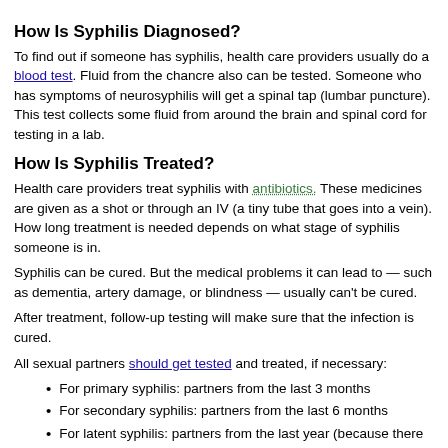How Is Syphilis Diagnosed?
To find out if someone has syphilis, health care providers usually do a blood test. Fluid from the chancre also can be tested. Someone who has symptoms of neurosyphilis will get a spinal tap (lumbar puncture). This test collects some fluid from around the brain and spinal cord for testing in a lab.
How Is Syphilis Treated?
Health care providers treat syphilis with antibiotics. These medicines are given as a shot or through an IV (a tiny tube that goes into a vein). How long treatment is needed depends on what stage of syphilis someone is in.
Syphilis can be cured. But the medical problems it can lead to — such as dementia, artery damage, or blindness — usually can't be cured.
After treatment, follow-up testing will make sure that the infection is cured.
All sexual partners should get tested and treated, if necessary:
For primary syphilis: partners from the last 3 months
For secondary syphilis: partners from the last 6 months
For latent syphilis: partners from the last year (because there could have been a chancre or condyloma lata that wasn't noticed)
Can Someone Get Syphilis More Than Once?
Yes, people can get syphilis again if they have sex with someone who is infected.